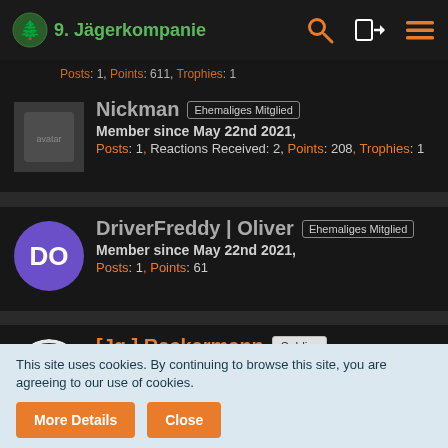9. Jägerkompanie
Posts: 1, Points: 611, Trophies: 1
Nickman  Ehemaliges Mitglied
Member since May 22nd 2021,
Posts: 1, Reactions Received: 2, Points: 208, Trophies: 1
DriverFreddy | Oliver  Ehemaliges Mitglied
Member since May 22nd 2021,
Posts: 1, Points: 61
[Jg.] Rackermann  Soldier
Member since May 21st 2021,
Posts: 1, Points: 124, Trophies: 1
[StGefr.] SasukeOversea  Soldier
Member since Apr 1st 2021,
This site uses cookies. By continuing to browse this site, you are agreeing to our use of cookies.